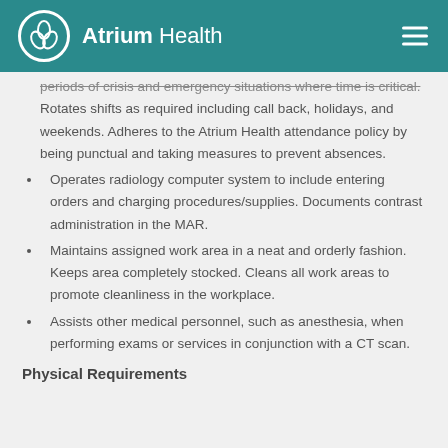Atrium Health
periods of crisis and emergency situations where time is critical. Rotates shifts as required including call back, holidays, and weekends. Adheres to the Atrium Health attendance policy by being punctual and taking measures to prevent absences.
Operates radiology computer system to include entering orders and charging procedures/supplies. Documents contrast administration in the MAR.
Maintains assigned work area in a neat and orderly fashion. Keeps area completely stocked. Cleans all work areas to promote cleanliness in the workplace.
Assists other medical personnel, such as anesthesia, when performing exams or services in conjunction with a CT scan.
Physical Requirements